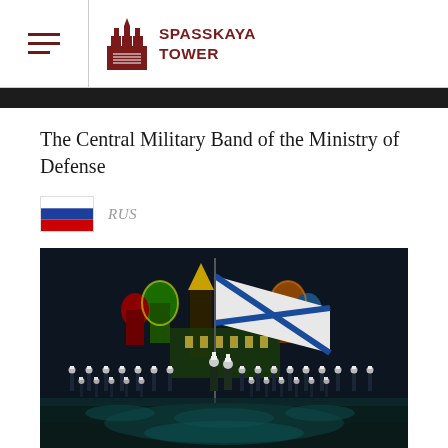SPASSKAYA TOWER
The Central Military Band of the Ministry of Defense
RUS
[Figure (photo): Military band performing at night in Red Square, Moscow. Soldiers in white-plumed hats holding a large white naval flag (Andreevsky flag) with Saint Basil's Cathedral illuminated in colorful lights in the background.]